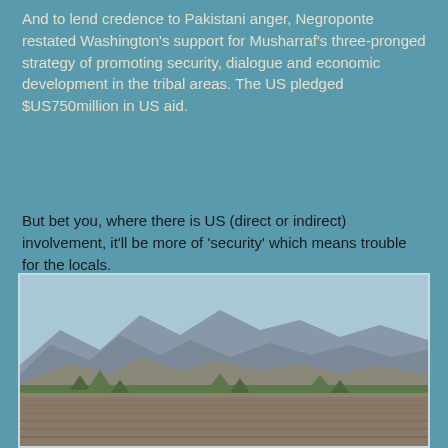And to lend credence to Pakistani anger, Negroponte restated Washington's support for Musharraf's three-pronged strategy of promoting security, dialogue and economic development in the tribal areas. The US pledged $US750million in US aid.
But bet you, where there is US (direct or indirect) involvement, it'll be more of 'security' which means trouble for the locals.
And true enough, right at the start of Holy month for Muslims, the Pakistan air force employed American supplied Cobra heli gunship to attack the territory where Osama bin Laden has his lair, killing more than 40.
[Figure (photo): Outdoor photograph showing a large crowd of people gathered in an open area with trees and mountains in the background under a blue sky.]